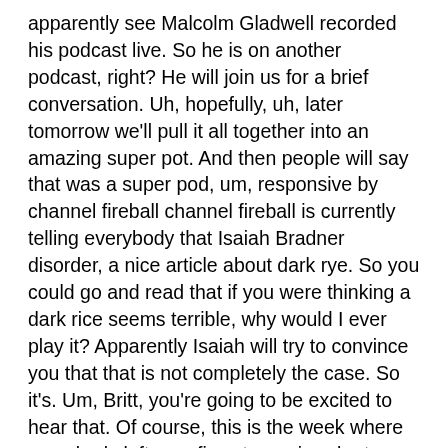apparently see Malcolm Gladwell recorded his podcast live. So he is on another podcast, right? He will join us for a brief conversation. Uh, hopefully, uh, later tomorrow we'll pull it all together into an amazing super pot. And then people will say that was a super pod, um, responsive by channel fireball channel fireball is currently telling everybody that Isaiah Bradner disorder, a nice article about dark rye. So you could go and read that if you were thinking a dark rice seems terrible, why would I ever play it? Apparently Isaiah will try to convince you that that is not completely the case. So it's. Um, Britt, you're going to be excited to hear that. Of course, this is the week where somebody left us a five star review, be top 2012, wrote my favorite pod and the Pokemon TCG. Each host brings a wealth of knowledge and thoughtful analysis of the Pokemon TCG. Not only that they